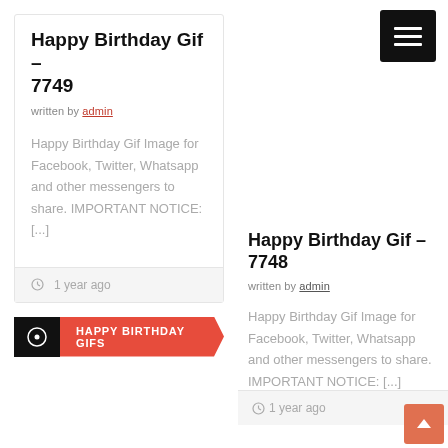Happy Birthday Gif – 7749
Written by admin
Happy Birthday Gif Image for Facebook, Twitter, Whatsapp and other messengers to share. IMPORTANT NOTICE: [...]
1 year ago
HAPPY BIRTHDAY GIFS
[Figure (other): Menu icon button (three horizontal lines on black background)]
Happy Birthday Gif – 7748
Written by admin
Happy Birthday Gif Image for Facebook, Twitter, Whatsapp and other messengers to share. IMPORTANT NOTICE: [...]
1 year ago